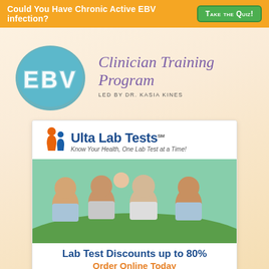Could You Have Chronic Active EBV infection? TAKE THE QUIZ!
[Figure (logo): EBV blue circle logo with 'EBV' text made of white cloud/bubble letters on a teal-blue circular background]
Clinician Training Program
LED BY DR. KASIA KINES
[Figure (logo): Ulta Lab Tests logo with orange and blue person icons and text. Tagline: Know Your Health, One Lab Test at a Time!]
[Figure (photo): Family of four adults smiling and lying on grass outdoors]
Lab Test Discounts up to 80%
Order Online Today
Over 1,500 Lab Tests Available